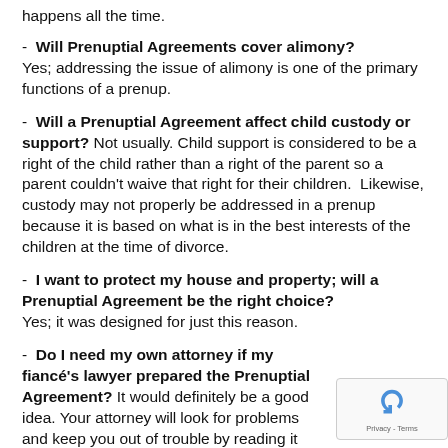happens all the time.
- Will Prenuptial Agreements cover alimony? Yes; addressing the issue of alimony is one of the primary functions of a prenup.
- Will a Prenuptial Agreement affect child custody or support? Not usually. Child support is considered to be a right of the child rather than a right of the parent so a parent couldn't waive that right for their children. Likewise, custody may not properly be addressed in a prenup because it is based on what is in the best interests of the children at the time of divorce.
- I want to protect my house and property; will a Prenuptial Agreement be the right choice? Yes; it was designed for just this reason.
- Do I need my own attorney if my fiancé's lawyer prepared the Prenuptial Agreement? It would definitely be a good idea. Your attorney will look for problems and keep you out of trouble by reading it over first.